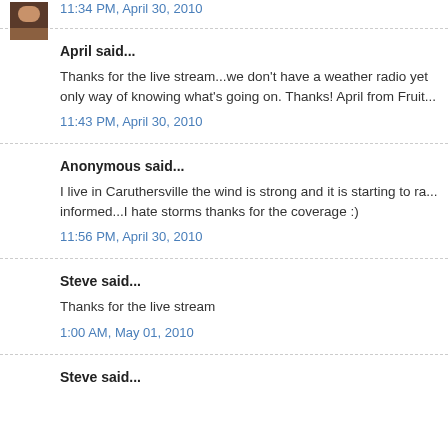11:34 PM, April 30, 2010
April said...
Thanks for the live stream...we don't have a weather radio yet only way of knowing what's going on. Thanks! April from Fruit...
11:43 PM, April 30, 2010
Anonymous said...
I live in Caruthersville the wind is strong and it is starting to ra... informed...I hate storms thanks for the coverage :)
11:56 PM, April 30, 2010
Steve said...
Thanks for the live stream
1:00 AM, May 01, 2010
Steve said...